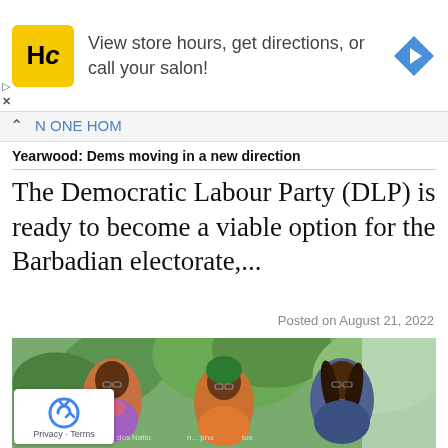[Figure (screenshot): Advertisement banner with HC (Hair Club) yellow logo, text 'View store hours, get directions, or call your salon!' and a blue navigation arrow icon on the right.]
Yearwood: Dems moving in a new direction
The Democratic Labour Party (DLP) is ready to become a viable option for the Barbadian electorate,...
Posted on August 21, 2022
[Figure (photo): Three women standing together smiling, in front of tropical green plants. Text watermarks partially visible at bottom: 'Barbados Nation... photos'.]